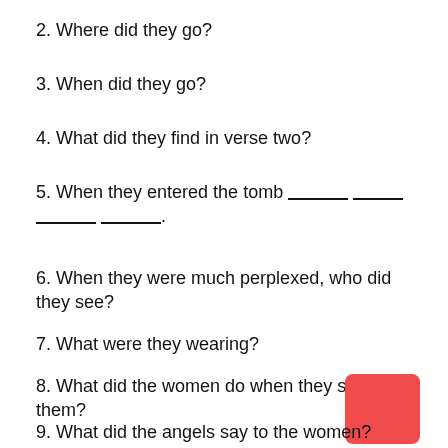2. Where did they go?
3. When did they go?
4. What did they find in verse two?
5. When they entered the tomb ________ ______ ________ ________.
6. When they were much perplexed, who did they see?
7. What were they wearing?
8. What did the women do when they saw them?
9. What did the angels say to the women?